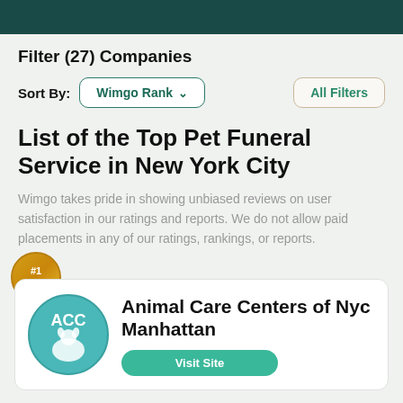Filter (27) Companies
Sort By: Wimgo Rank ∨   All Filters
List of the Top Pet Funeral Service in New York City
Wimgo takes pride in showing unbiased reviews on user satisfaction in our ratings and reports. We do not allow paid placements in any of our ratings, rankings, or reports.
[Figure (logo): ACC (Animal Care Centers) circular logo in teal with animal silhouette]
Animal Care Centers of Nyc Manhattan